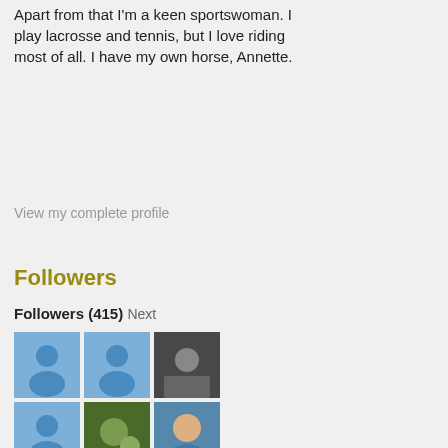Apart from that I'm a keen sportswoman. I play lacrosse and tennis, but I love riding most of all. I have my own horse, Annette.
View my complete profile
Followers
Followers (415) Next
[Figure (photo): Grid of follower profile pictures - 6 rows of 3 avatars each. Some are placeholder blue icons, others are real photos of people.]